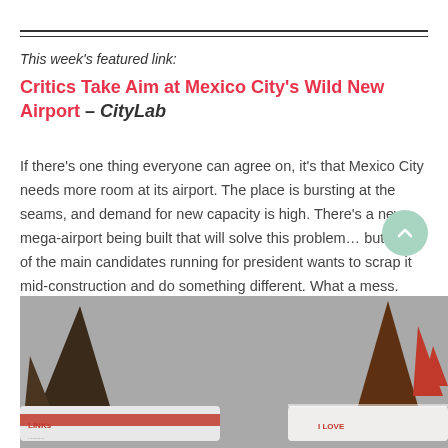This week's featured link:
Critics Take Aim at Mexico City's Wild New Airport – CityLab
If there's one thing everyone can agree on, it's that Mexico City needs more room at its airport. The place is bursting at the seams, and demand for new capacity is high. There's a new mega-airport being built that will solve this problem… but one of the main candidates running for president wants to scrap it mid-construction and do something different. What a mess.
[Figure (photo): Photograph of airplane tail fins on a tarmac, showing 'LINKs' and 'I LOVE' text on plane bodies, against a grey sky.]